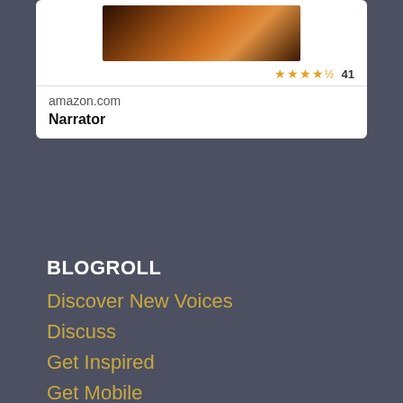[Figure (screenshot): Book cover image showing a dark scene with knife and wine glass on orange background]
★★★★½ 41
amazon.com
Narrator
BLOGROLL
Discover New Voices
Discuss
Get Inspired
Get Mobile
Get Polling
Get Support
Great Reads